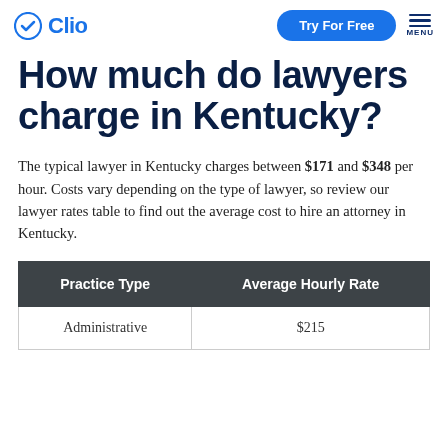Clio | Try For Free | MENU
How much do lawyers charge in Kentucky?
The typical lawyer in Kentucky charges between $171 and $348 per hour. Costs vary depending on the type of lawyer, so review our lawyer rates table to find out the average cost to hire an attorney in Kentucky.
| Practice Type | Average Hourly Rate |
| --- | --- |
| Administrative | $215 |